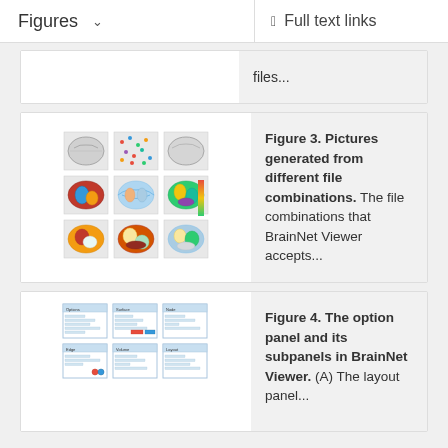Figures   Full text links
files...
[Figure (illustration): Grid of 9 brain images showing different views and colorization from different file combinations in BrainNet Viewer]
Figure 3. Pictures generated from different file combinations. The file combinations that BrainNet Viewer accepts...
[Figure (screenshot): Grid of 6 screenshots showing the option panel and its subpanels in BrainNet Viewer]
Figure 4. The option panel and its subpanels in BrainNet Viewer. (A) The layout panel...